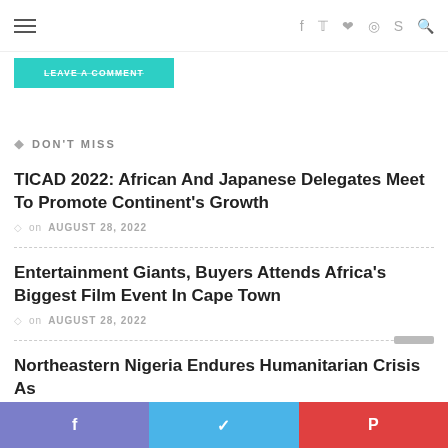Navigation bar with hamburger menu and social icons (f, twitter, pinterest, instagram, skype, search)
LEAVE A COMMENT
DON'T MISS
TICAD 2022: African And Japanese Delegates Meet To Promote Continent's Growth
on AUGUST 28, 2022
Entertainment Giants, Buyers Attends Africa's Biggest Film Event In Cape Town
on AUGUST 28, 2022
Northeastern Nigeria Endures Humanitarian Crisis As Children Affected By Hunger And Malnutrition
Social share bar: Facebook, Twitter, Pinterest